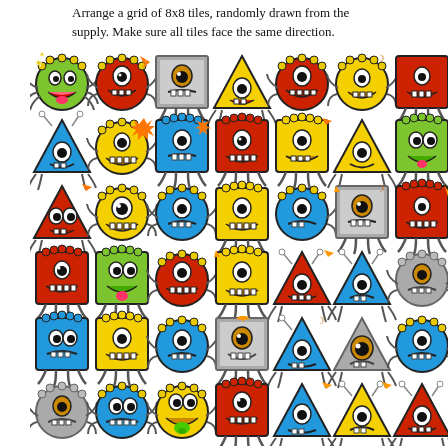Arrange a grid of 8x8 tiles, randomly drawn from the supply. Make sure all tiles face the same direction.
[Figure (illustration): A 7x6 grid of cartoon monster tile characters. Each monster tile is one of several shapes (circle, square, triangle) in various colors (red, yellow, blue, green, gray/silver) with expressive cartoon faces showing teeth, tongues, and single or double eyes. Some tiles have orange star or flash decorations and moon symbols in the corners. The monsters have claw-like appendages and spiky or bumpy borders.]